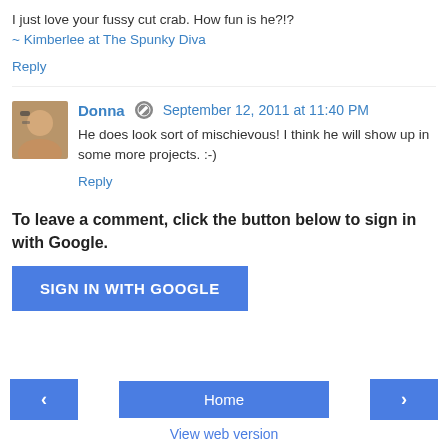I just love your fussy cut crab. How fun is he?!?
~ Kimberlee at The Spunky Diva
Reply
Donna  September 12, 2011 at 11:40 PM
He does look sort of mischievous! I think he will show up in some more projects. :-)
Reply
To leave a comment, click the button below to sign in with Google.
SIGN IN WITH GOOGLE
Home
View web version